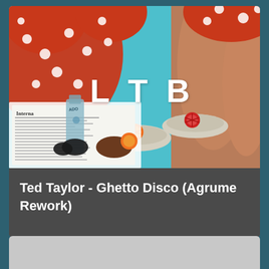[Figure (photo): Album art for LTB showing a person in red polka dot clothing lounging on a teal background with espadrille shoes and citrus fruit decorations. Newspaper and a glass bottle visible. White bold text 'LTB' overlaid on the image.]
Ted Taylor - Ghetto Disco (Agrume Rework)
[Figure (photo): Partially visible second card with gray/light background at the bottom of the page.]